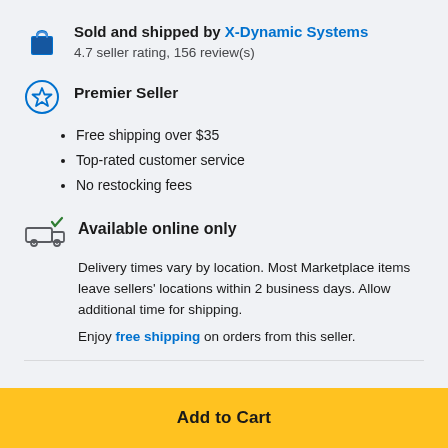Sold and shipped by X-Dynamic Systems
4.7 seller rating, 156 review(s)
Premier Seller
Free shipping over $35
Top-rated customer service
No restocking fees
Available online only
Delivery times vary by location. Most Marketplace items leave sellers' locations within 2 business days. Allow additional time for shipping.
Enjoy free shipping on orders from this seller.
Add to Cart